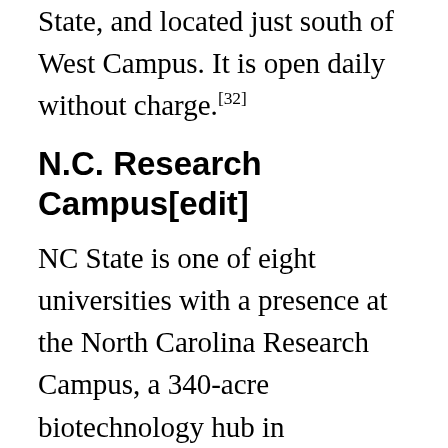State, and located just south of West Campus. It is open daily without charge.[32]
N.C. Research Campus[edit]
NC State is one of eight universities with a presence at the North Carolina Research Campus, a 340-acre biotechnology hub in Kannapolis, N.C. The university operates the Plants for Human Health Institute (PHHI), a research and education organization devoted to research involving food crops, like fruits and vegetables, and the potential health-promoting properties they convey when consumed.[33] NC State's College of Agriculture and Life Sciences staffs the institute with faculty from the departments of horticultural science; food, bioprocessing and nutrition sciences; plant and